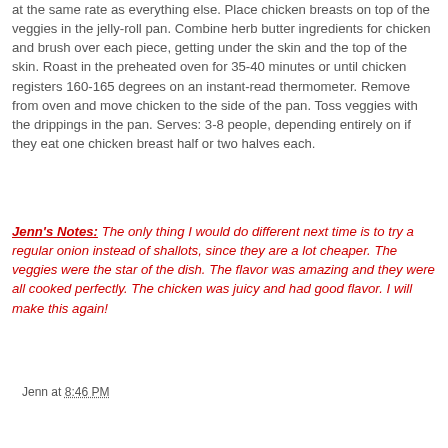at the same rate as everything else.  Place chicken breasts on top of the veggies in the jelly-roll pan.  Combine herb butter ingredients for chicken and brush over each piece, getting under the skin and the top of the skin. Roast in the preheated oven for 35-40 minutes or until chicken registers 160-165 degrees on an instant-read thermometer.  Remove from oven and move chicken to the side of the pan.  Toss veggies with the drippings in the pan.  Serves: 3-8 people, depending entirely on if they eat one chicken breast half or two halves each.
Jenn's Notes: The only thing I would do different next time is to try a regular onion instead of shallots, since they are a lot cheaper.  The veggies were the star of the dish.  The flavor was amazing and they were all cooked perfectly.  The chicken was juicy and had good flavor.  I will make this again!
Jenn at 8:46 PM
Share